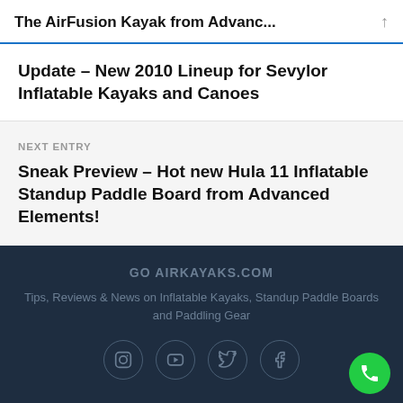The AirFusion Kayak from Advanc...
Update – New 2010 Lineup for Sevylor Inflatable Kayaks and Canoes
NEXT ENTRY
Sneak Preview – Hot new Hula 11 Inflatable Standup Paddle Board from Advanced Elements!
GO AIRKAYAKS.COM
Tips, Reviews & News on Inflatable Kayaks, Standup Paddle Boards and Paddling Gear